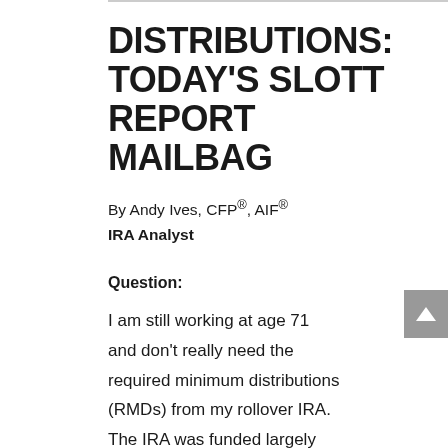DISTRIBUTIONS: TODAY'S SLOTT REPORT MAILBAG
By Andy Ives, CFP®, AIF®
IRA Analyst
Question:
I am still working at age 71 and don't really need the required minimum distributions (RMDs) from my rollover IRA. The IRA was funded largely with distributions from a tax-qualified pension plan and a tax-